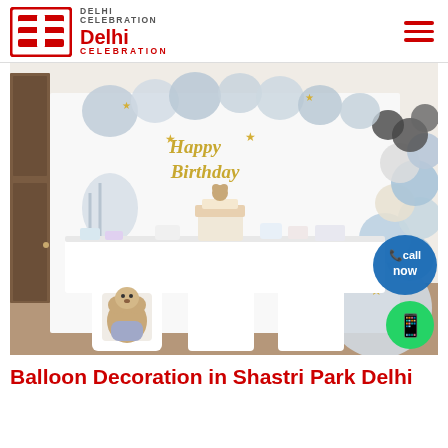Delhi Celebration
[Figure (photo): A first birthday party decoration setup with 'ONE' letters, a dessert table, Happy Birthday sign, and a balloon garland arch in light blue, white, silver, and gold colors. A teddy bear sits in front of the 'O' letter. A 'Call Now' badge and WhatsApp icon are overlaid on the image.]
Balloon Decoration in Shastri Park Delhi